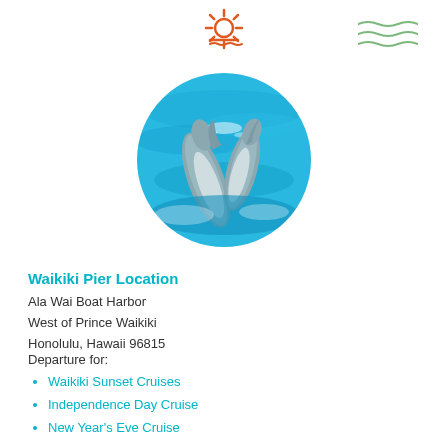[Figure (illustration): Orange sun-over-water icon (sunset/sunrise symbol) centered at top of page, along with green wave lines at top right]
[Figure (photo): Circular cropped photo of two dolphins jumping out of bright blue ocean water]
Waikiki Pier Location
Ala Wai Boat Harbor
West of Prince Waikiki
Honolulu, Hawaii 96815
Departure for:
Waikiki Sunset Cruises
Independence Day Cruise
New Year's Eve Cruise